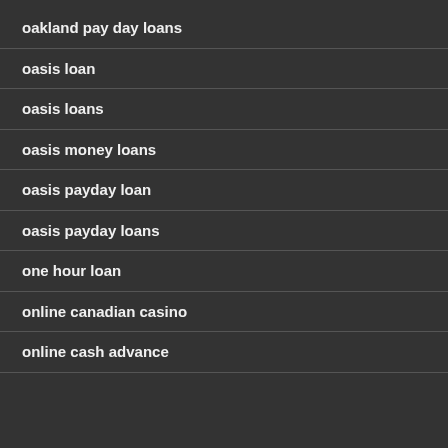oakland pay day loans
oasis loan
oasis loans
oasis money loans
oasis payday loan
oasis payday loans
one hour loan
online canadian casino
online cash advance